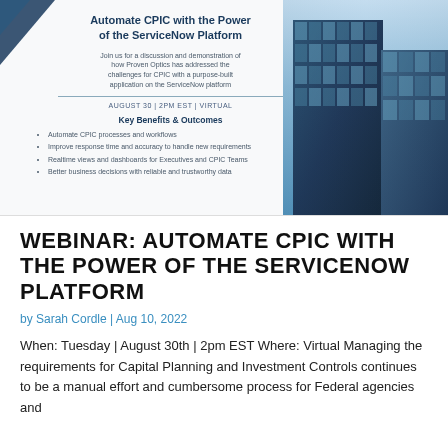[Figure (illustration): Webinar flyer with building image on the right and text on the left. Title reads 'Automate CPIC with the Power of the ServiceNow Platform'. Includes date AUGUST 30 | 2PM EST | VIRTUAL and Key Benefits & Outcomes bullet list.]
WEBINAR: AUTOMATE CPIC WITH THE POWER OF THE SERVICENOW PLATFORM
by Sarah Cordle | Aug 10, 2022
When: Tuesday | August 30th | 2pm EST Where: Virtual Managing the requirements for Capital Planning and Investment Controls continues to be a manual effort and cumbersome process for Federal agencies and